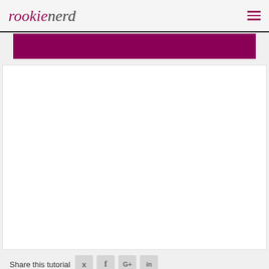rookienerd
[Figure (photo): Dark magenta/purple banner image strip]
[Figure (photo): White blank content area (advertisement or image placeholder)]
Share this tutorial
Contents